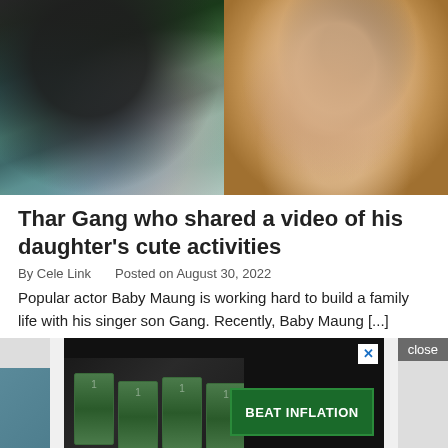[Figure (photo): Two photos side by side: left shows a man in black shirt near a hospital bassinet with a newborn, right shows a close-up of a baby's face]
Thar Gang who shared a video of his daughter's cute activities
By Cele Link   Posted on August 30, 2022
Popular actor Baby Maung is working hard to build a family life with his singer son Gang. Recently, Baby Maung [...]
[Figure (screenshot): Advertisement banner showing dollar bills and a green 'BEAT INFLATION' button on dark background, with close/X controls]